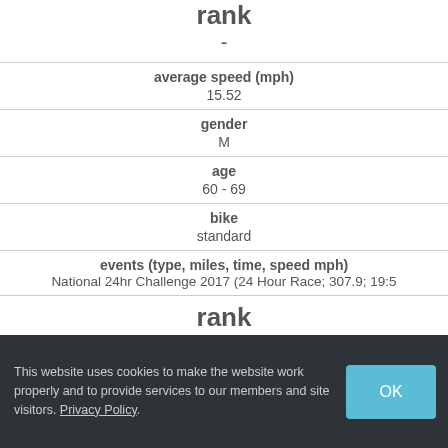| field | value |
| --- | --- |
| rank | - |
| average speed (mph) | 15.52 |
| gender | M |
| age | 60 - 69 |
| bike | standard |
| events (type, miles, time, speed mph) | National 24hr Challenge 2017 (24 Hour Race; 307.9; 19:5... |
| rank |  |
This website uses cookies to make the website work properly and to provide services to our members and site visitors. Privacy Policy.